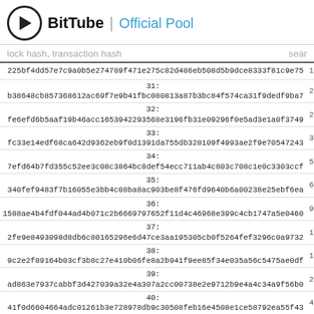BitTube | Official Pool
lock hash, transaction hash  sear
| hash | num |
| --- | --- |
| 225bf4dd57e7c9a0b5e274789f471e275c82d486eb508d5b9dce8333f81c9e75 | 1↑ |
| 31:
b38648cb857368612ac69f7e9b41fbc080813a87b3bc84f574ca31f9dedf9ba7 | 20 |
| 32:
fe6efd6b5aaf19b46acc1653942293568e3196fb31e09296f0e5ad3e1a0f3749 | 20 |
| 33:
fc33e14edf68ca642d9362eb9f0d1391da755db328109f4993ae2f9e70547243 | 30 |
| 34:
7efd64b7fd355c52ee3c08c3864bc8def54ecc711ab4c803c708c1e0c3303ccf | 50 |
| 35:
340fef9483f7b16055e3bb4c08ba8ac903be8f476fd9640b6a00238e25ebf6ea | 60 |
| 36:
1588ae4b4fdf044ad4b071c2b6669797652f11d4c46968e399c4cb1747a5e0460 | 90 |
| 37:
2fe9e8493098d8db6c80165296e6d47ce3aa195305cb0f5264fef3296c0a9732 | 100 |
| 38:
9c2e2f89164b03cf3b8c27e410b06fe8a2b941f9ee85f34e035a56c5475ae0df | 100 |
| 39:
ad863e7937cabbf3d427039a32e4a307a2cc00738e2e9712b9e4a4c34a9f56b0 | 200 |
| 40:
41f0d6604664adc01261b3e728978db9c30508feb16e4508e1ce58792ea55f43 | 400 |
| 41:
d9f44e946badf16acfebe8e6c78bc0bc45fa98d770c2a39051bf80608706d221 | 500 |